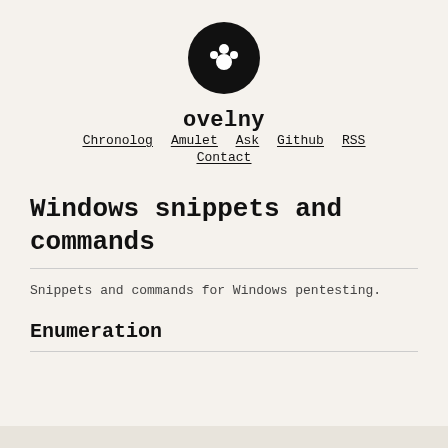[Figure (logo): Black circle with white paw/flower icon — ovelny site logo]
ovelny
Chronolog  Amulet  Ask  Github  RSS  Contact
Windows snippets and commands
Snippets and commands for Windows pentesting.
Enumeration